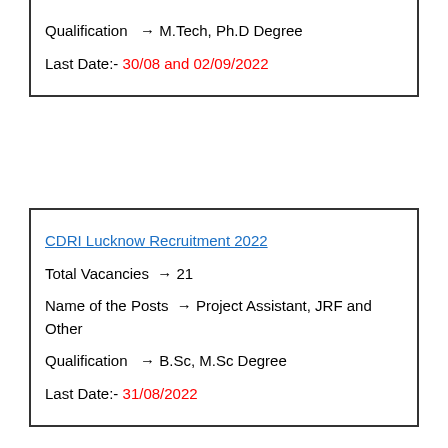Qualification → M.Tech, Ph.D Degree
Last Date:- 30/08 and 02/09/2022
CDRI Lucknow Recruitment 2022
Total Vacancies → 21
Name of the Posts → Project Assistant, JRF and Other
Qualification → B.Sc, M.Sc Degree
Last Date:- 31/08/2022